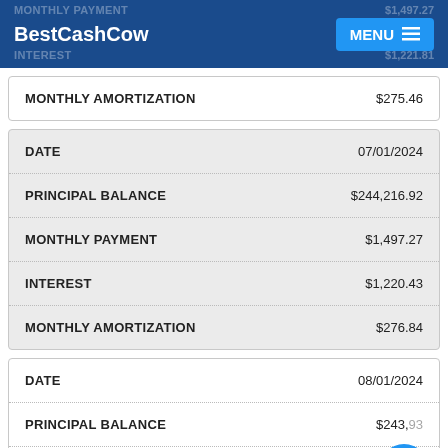BestCashCow | MENU
| MONTHLY AMORTIZATION | $275.46 |
| --- | --- |
| DATE | 07/01/2024 |
| --- | --- |
| PRINCIPAL BALANCE | $244,216.92 |
| MONTHLY PAYMENT | $1,497.27 |
| INTEREST | $1,220.43 |
| MONTHLY AMORTIZATION | $276.84 |
| DATE | 08/01/2024 |
| --- | --- |
| PRINCIPAL BALANCE | $243,939.?? |
| MONTHLY PAYMENT | $1,497.27 |